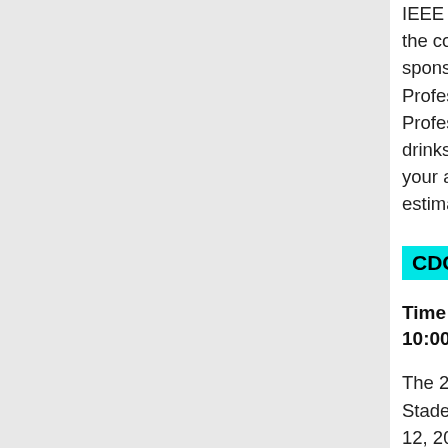IEEE members or any other passing individual from the control area. This reception is organized and sponsored by IEEE Control System Society Young Professionals and IEEE Region 8 Young Professionals. Entrance is free, with snacks and drinks sponsored by the organizers. Please register your attendance at the following link to help us estimate the number. See annoucement here!
CDC Soccer Cup
Time and Location: Thursday, December 12th, 10:00-12:00, Stade Bob Rémond
The 2nd, Annual CDC Soccer Cup will take place at Stade Bob Rémond in Nice, France on December 12, 2019, from 10:00 to 12:00. The stadium is close to the conference center Acropolis and is reachable by tramway in about 10 minutes: https://goo.gl/maps/KYqnFs4APhec1b5f6.
Following the tradition, Kalman FC (white and green) will be playing Lyapunov